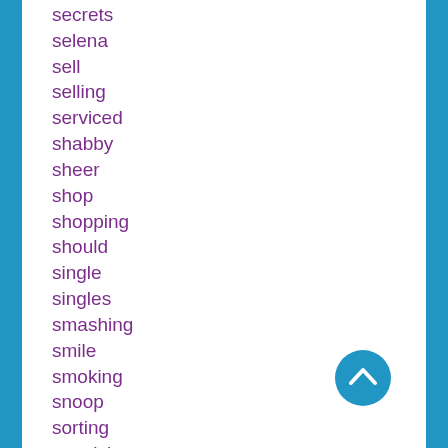secrets
selena
sell
selling
serviced
shabby
sheer
shop
shopping
should
single
singles
smashing
smile
smoking
snoop
sorting
spanish
spawn
speakers
special
specialised